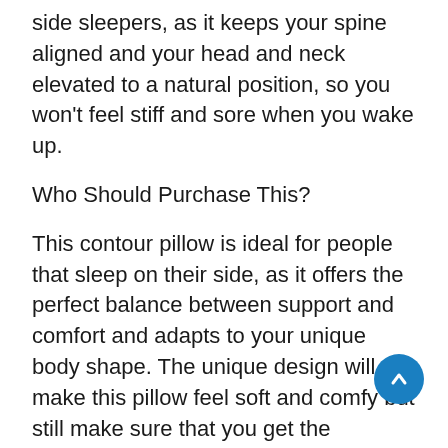side sleepers, as it keeps your spine aligned and your head and neck elevated to a natural position, so you won't feel stiff and sore when you wake up.
Who Should Purchase This?
This contour pillow is ideal for people that sleep on their side, as it offers the perfect balance between support and comfort and adapts to your unique body shape. The unique design will make this pillow feel soft and comfy but still make sure that you get the sturdiness and support you need.
6. Best for Snoring – Power of Nature Memory Foam Contour Pill…